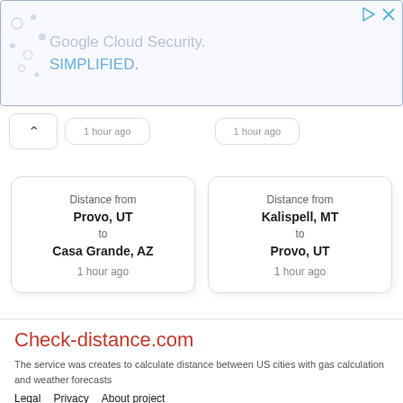[Figure (screenshot): Google Cloud Security. SIMPLIFIED. advertisement banner with blue border]
1 hour ago
1 hour ago
Distance from Provo, UT to Casa Grande, AZ
1 hour ago
Distance from Kalispell, MT to Provo, UT
1 hour ago
Check-distance.com
The service was creates to calculate distance between US cities with gas calculation and weather forecasts
Legal
Privacy
About project
Check-distance.com © 2014-2019 All rights reserved.